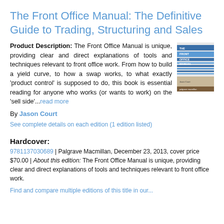The Front Office Manual: The Definitive Guide to Trading, Structuring and Sales
Product Description: The Front Office Manual is unique, providing clear and direct explanations of tools and techniques relevant to front office work. From how to build a yield curve, to how a swap works, to what exactly 'product control' is supposed to do, this book is essential reading for anyone who works (or wants to work) on the 'sell side'...read more
[Figure (photo): Book cover of The Front Office Manual showing blue horizontal stripes with title text]
By Jason Court
See complete details on each edition (1 edition listed)
Hardcover:
9781137030689 | Palgrave Macmillan, December 23, 2013, cover price $70.00 | About this edition: The Front Office Manual is unique, providing clear and direct explanations of tools and techniques relevant to front office work.
Find and compare multiple editions of this title in our...